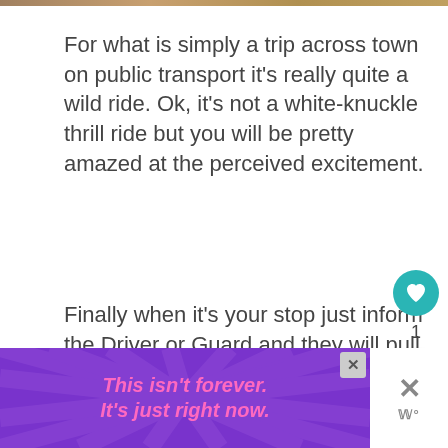[Figure (photo): Thin decorative image strip at top of page]
For what is simply a trip across town on public transport it’s really quite a wild ride. Ok, it’s not a white-knuckle thrill ride but you will be pretty amazed at the perceived excitement.
Finally when it’s your stop just inform the Driver or Guard and they will pull up and let you off.
[Figure (screenshot): Ad banner: purple background with radiating stripes, pink italic text 'This isn’t forever. It’s just right now.' with close button. Adjacent sidebar shows X close icon and W logo.]